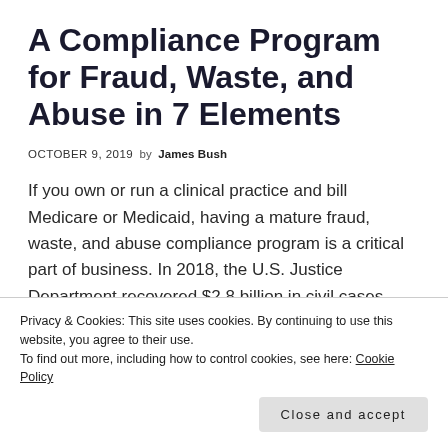A Compliance Program for Fraud, Waste, and Abuse in 7 Elements
OCTOBER 9, 2019 by James Bush
If you own or run a clinical practice and bill Medicare or Medicaid, having a mature fraud, waste, and abuse compliance program is a critical part of business. In 2018, the U.S. Justice Department recovered $2.8 billion in civil cases involving fraud and false claims submitted to the Federal government. Of that figure, $2.5 billion …
Privacy & Cookies: This site uses cookies. By continuing to use this website, you agree to their use.
To find out more, including how to control cookies, see here: Cookie Policy
Close and accept